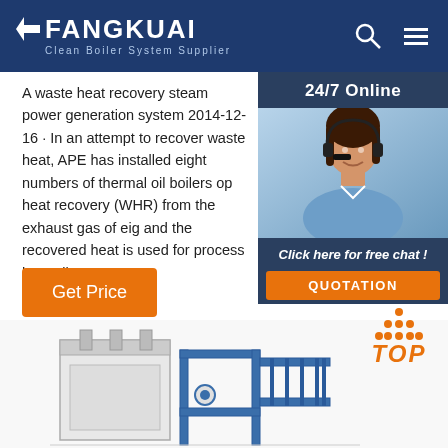FANGKUAI Clean Boiler System Supplier
A waste heat recovery steam power generation system 2014-12-16 · In an attempt to recover waste heat, APE has installed eight numbers of thermal oil boilers op heat recovery (WHR) from the exhaust gas of eig and the recovered heat is used for process heat oil.
[Figure (photo): Customer service representative wearing headset, smiling, with 24/7 Online label and Click here for free chat! text and QUOTATION button overlay]
[Figure (illustration): Industrial boiler system equipment illustration at the bottom of the page]
[Figure (infographic): TOP navigation button with orange dot triangle above orange italic TOP text]